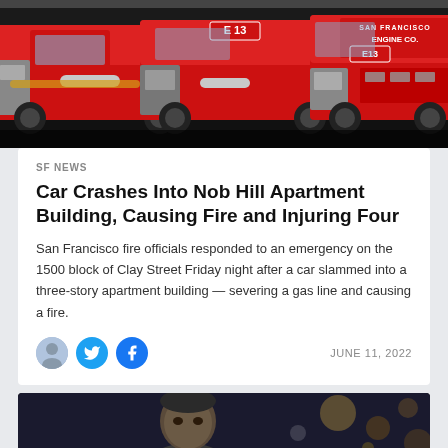[Figure (photo): Red San Francisco fire trucks lined up, showing Engine Co markings and equipment]
SF NEWS
Car Crashes Into Nob Hill Apartment Building, Causing Fire and Injuring Four
San Francisco fire officials responded to an emergency on the 1500 block of Clay Street Friday night after a car slammed into a three-story apartment building — severing a gas line and causing a fire.
JUNE 11, 2022
[Figure (photo): Close-up of a person's face in a dark arena setting with bokeh lights in background]